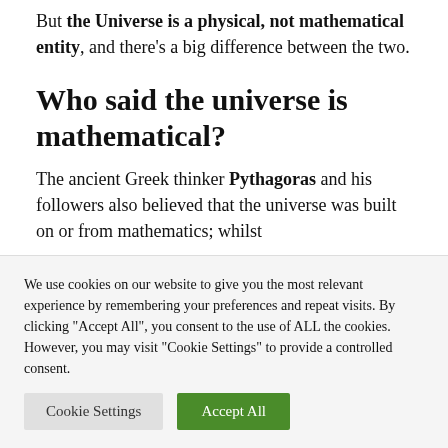But the Universe is a physical, not mathematical entity, and there's a big difference between the two.
Who said the universe is mathematical?
The ancient Greek thinker Pythagoras and his followers also believed that the universe was built on or from mathematics; whilst
We use cookies on our website to give you the most relevant experience by remembering your preferences and repeat visits. By clicking "Accept All", you consent to the use of ALL the cookies. However, you may visit "Cookie Settings" to provide a controlled consent.